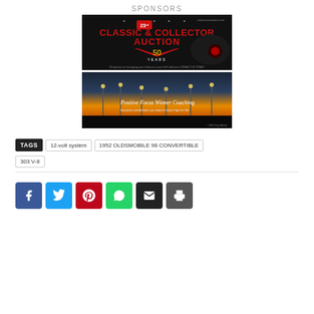SPONSORS
[Figure (photo): Classic & Collector Auction 23rd anniversary banner with vintage car on black background]
[Figure (photo): Positive Focus Winner Coaching advertisement with sunset road background]
TAGS  12-volt system  1952 OLDSMOBILE 98 CONVERTIBLE  303 V-8
[Figure (infographic): Social media share buttons: Facebook, Twitter, Pinterest, WhatsApp, Email, Print]